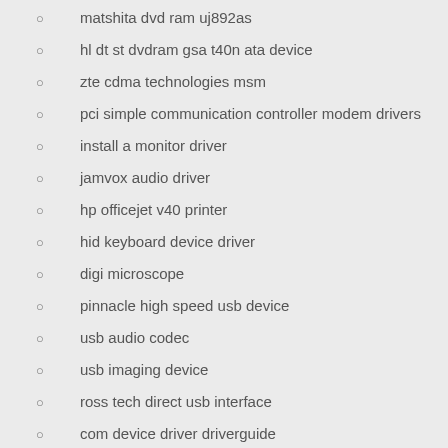matshita dvd ram uj892as
hl dt st dvdram gsa t40n ata device
zte cdma technologies msm
pci simple communication controller modem drivers
install a monitor driver
jamvox audio driver
hp officejet v40 printer
hid keyboard device driver
digi microscope
pinnacle high speed usb device
usb audio codec
usb imaging device
ross tech direct usb interface
com device driver driverguide
zte wireless ethernet adapter
pioneer dvd rw dvr 118l
wd my passport 070a usb device
sii smart label printer 200